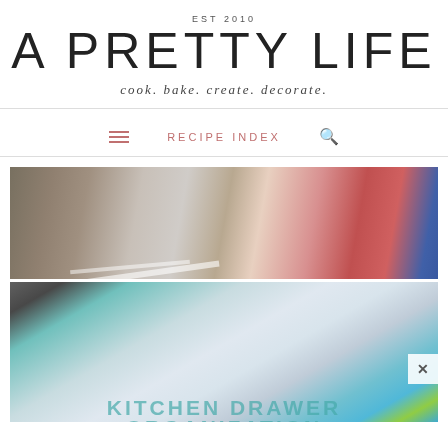EST 2010
A PRETTY LIFE
cook. bake. create. decorate.
RECIPE INDEX
[Figure (photo): Two photos of cluttered kitchen drawers with utensils, bowls, and household items. Overlaid text reads 'KITCHEN DRAWER ORGANIZATION'.]